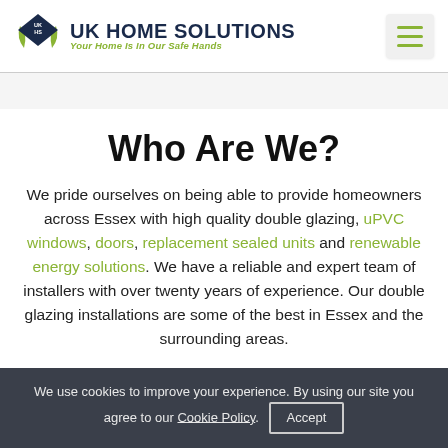UK HOME SOLUTIONS — Your Home Is In Our Safe Hands
Who Are We?
We pride ourselves on being able to provide homeowners across Essex with high quality double glazing, uPVC windows, doors, replacement sealed units and renewable energy solutions. We have a reliable and expert team of installers with over twenty years of experience. Our double glazing installations are some of the best in Essex and the surrounding areas.
We use cookies to improve your experience. By using our site you agree to our Cookie Policy. Accept